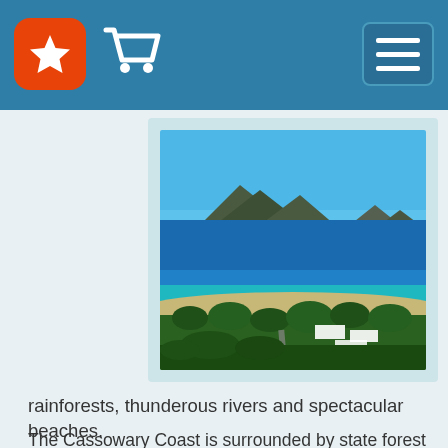[Figure (photo): Aerial view of a tropical coastline with turquoise water, sandy beach, palm trees, and mountains/islands in the background]
rainforests, thunderous rivers and spectacular beaches.
The Cassowary Coast is surrounded by state forest that is one of the last habitats of the Cassowary, a large, colourful, flightless bird that is the icon of this region. The cassowary is an essential aspect in spreading the seeds of certain rainforest trees via their fruit.